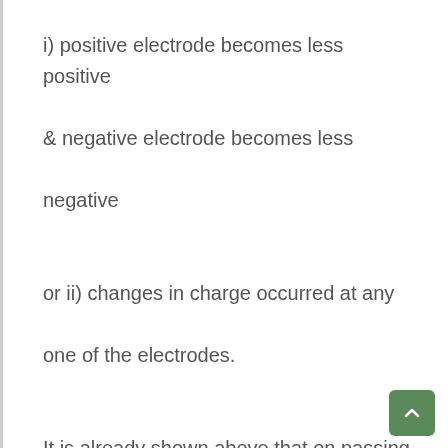i) positive electrode becomes less positive & negative electrode becomes less negative

or ii) changes in charge occurred at any one of the electrodes.

It is already shown above that on passing of external emf through a pair of electrodes dipped in water, changes occur at both the electrodes in water. Now the question arises about what makes the